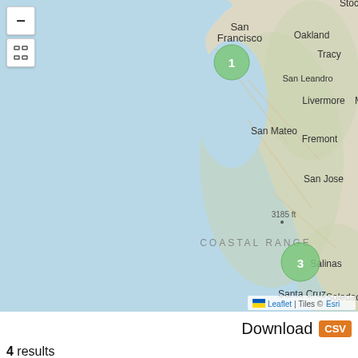[Figure (map): Leaflet map showing the San Francisco Bay Area and Central California Coast. Two green cluster markers are visible: marker labeled '1' near San Francisco, and marker labeled '3' near the coast south of Santa Cruz. Map labels include San Francisco, Oakland, Tracy, San Leandro, Livermore, San Mateo, Fremont, San Jose, 3185ft, COASTAL RANGE, Santa Cruz, Salinas, Soledao. Map attribution: Leaflet | Tiles © Esri. Map controls include zoom-out (-) and fullscreen buttons.]
Download CSV
4 results